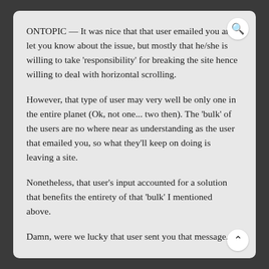ONTOPIC — It was nice that that user emailed you and let you know about the issue, but mostly that he/she is willing to take 'responsibility' for breaking the site hence willing to deal with horizontal scrolling.
However, that type of user may very well be only one in the entire planet (Ok, not one... two then). The 'bulk' of the users are no where near as understanding as the user that emailed you, so what they'll keep on doing is leaving a site.
Nonetheless, that user's input accounted for a solution that benefits the entirety of that 'bulk' I mentioned above.
Damn, were we lucky that user sent you that message.
Big Thank Yous to him/her and you.